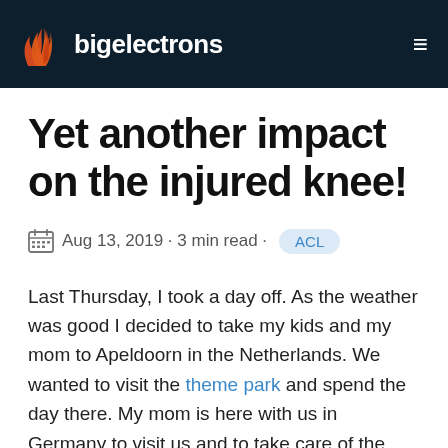bigelectrons
Yet another impact on the injured knee!
Aug 13, 2019 · 3 min read · ACL
Last Thursday, I took a day off. As the weather was good I decided to take my kids and my mom to Apeldoorn in the Netherlands. We wanted to visit the theme park and spend the day there. My mom is here with us in Germany to visit us and to take care of the kids during their summer vacation. Apeldoorn is a 2-hour drive from where we live. As usual, we did not manage to start early